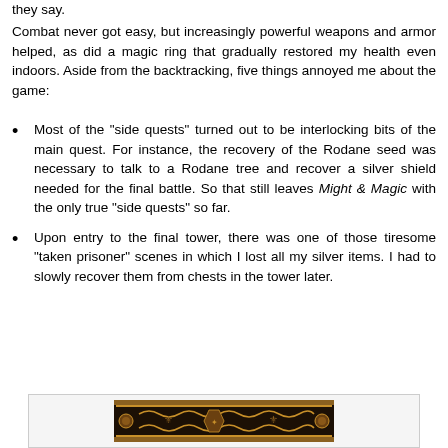they say.
Combat never got easy, but increasingly powerful weapons and armor helped, as did a magic ring that gradually restored my health even indoors. Aside from the backtracking, five things annoyed me about the game:
Most of the "side quests" turned out to be interlocking bits of the main quest. For instance, the recovery of the Rodane seed was necessary to talk to a Rodane tree and recover a silver shield needed for the final battle. So that still leaves Might & Magic with the only true "side quests" so far.
Upon entry to the final tower, there was one of those tiresome "taken prisoner" scenes in which I lost all my silver items. I had to slowly recover them from chests in the tower later.
[Figure (screenshot): Decorative game border/banner image with ornate golden and brown fantasy-style design elements]